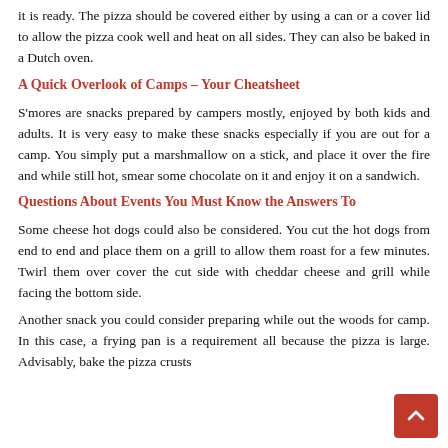it is ready. The pizza should be covered either by using a can or a cover lid to allow the pizza cook well and heat on all sides. They can also be baked in a Dutch oven.
A Quick Overlook of Camps – Your Cheatsheet
S'mores are snacks prepared by campers mostly, enjoyed by both kids and adults. It is very easy to make these snacks especially if you are out for a camp. You simply put a marshmallow on a stick, and place it over the fire and while still hot, smear some chocolate on it and enjoy it on a sandwich.
Questions About Events You Must Know the Answers To
Some cheese hot dogs could also be considered. You cut the hot dogs from end to end and place them on a grill to allow them roast for a few minutes. Twirl them over cover the cut side with cheddar cheese and grill while facing the bottom side.
Another snack you could consider preparing while out the woods for camp. In this case, a frying pan is a requirement all because the pizza is large. Advisably, bake the pizza crusts